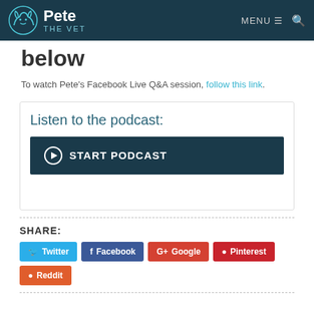Pete THE VET — MENU ☰ 🔍
below
To watch Pete's Facebook Live Q&A session, follow this link.
Listen to the podcast:
▶ START PODCAST
SHARE:
Twitter  Facebook  Google  Pinterest  Reddit